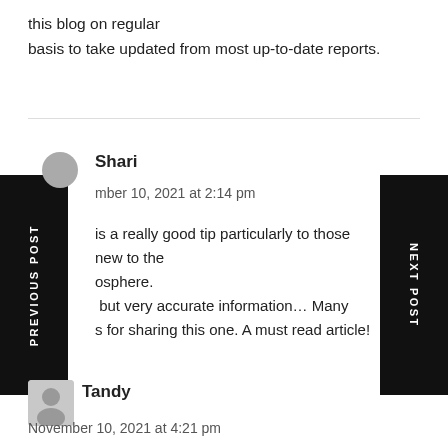this blog on regular basis to take updated from most up-to-date reports.
Shari
November 10, 2021 at 2:14 pm
is a really good tip particularly to those new to the sphere. but very accurate information… Many s for sharing this one. A must read article!
PREVIOUS POST
NEXT POST
Tandy
November 10, 2021 at 4:21 pm